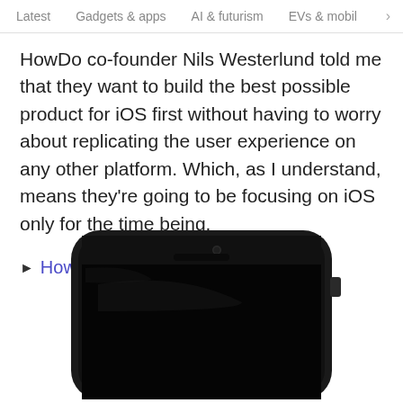Latest   Gadgets & apps   AI & futurism   EVs & mobil >
HowDo co-founder Nils Westerlund told me that they want to build the best possible product for iOS first without having to worry about replicating the user experience on any other platform. Which, as I understand, means they're going to be focusing on iOS only for the time being.
▶ HowDo for iOS
[Figure (photo): Top portion of a black iPhone (iPhone 5 style) showing the front face with camera, speaker grille, and the top of the dark screen, cropped at the bottom of the page.]